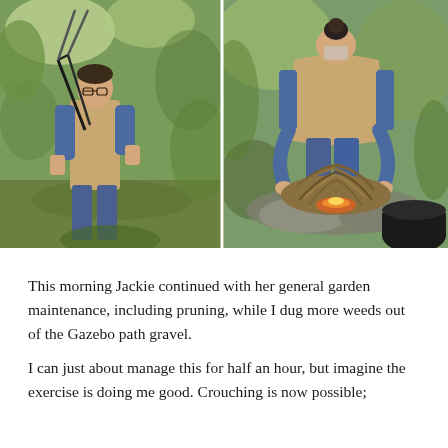[Figure (photo): Two side-by-side photos of garden work. Left: A woman in a tan vest and blue floral top using long-handled pruning shears among green trees and foliage. Right: A person in a tan vest and blue floral top bending over a pile of dry roots/weeds with a fire visible at the base, a black pot nearby.]
This morning Jackie continued with her general garden maintenance, including pruning, while I dug more weeds out of the Gazebo path gravel.
I can just about manage this for half an hour, but imagine the exercise is doing me good. Crouching is now possible;